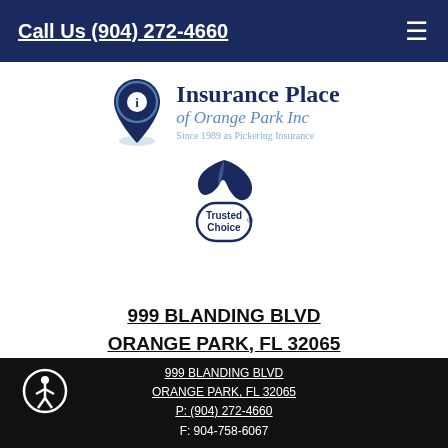Call Us (904) 272-4660
[Figure (logo): Insurance Place of Orange Park Inc logo with location pin icon and 'Trusted Choice' badge]
999 BLANDING BLVD
ORANGE PARK, FL 32065
[Figure (map): Google map screenshot showing location pin at 999 Blanding Blvd, Orange Park FL, near intersection of Blanding Boulevard and FL-21]
999 BLANDING BLVD
ORANGE PARK, FL 32065
P: (904) 272-4660
F: 904-758-6067